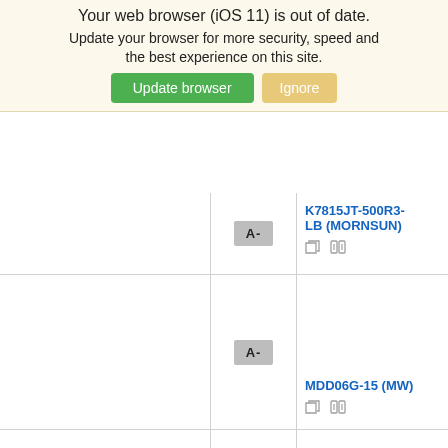Your web browser (iOS 11) is out of date. Update your browser for more security, speed and the best experience on this site.
Update browser | Ignore
|  | Rating | Part |
| --- | --- | --- |
|  | A- | K7815JT-500R3-LB (MORNSUN) |
|  | A- | MDD06G-15 (MW) |
|  | A- | MDS06F-15 (MW) |
|  | A- | MDS06G-15 (MW) |